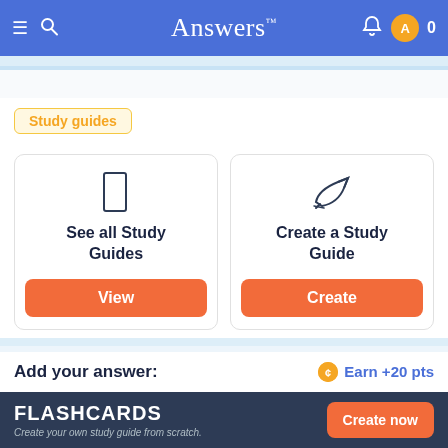Answers™
Study guides
See all Study Guides — View
Create a Study Guide — Create
Add your answer:
Earn +20 pts
FLASHCARDS — Create your own study guide from scratch. — Create now